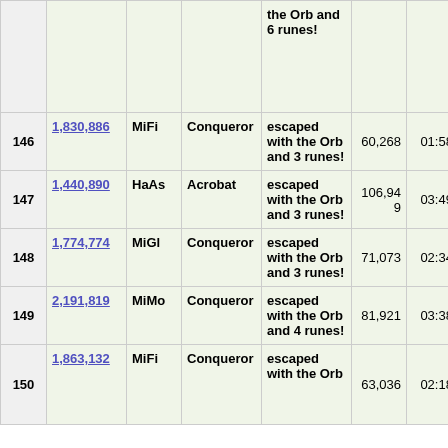| # | Score | Char | Title | Result | Turns | Duration |
| --- | --- | --- | --- | --- | --- | --- |
|  |  |  |  | the Orb and 6 runes! |  |  |
| 146 | 1,830,886 | MiFi | Conqueror | escaped with the Orb and 3 runes! | 60,268 | 01:58:29 |
| 147 | 1,440,890 | HaAs | Acrobat | escaped with the Orb and 3 runes! | 106,949 | 03:49:25 |
| 148 | 1,774,774 | MiGl | Conqueror | escaped with the Orb and 3 runes! | 71,073 | 02:34:56 |
| 149 | 2,191,819 | MiMo | Conqueror | escaped with the Orb and 4 runes! | 81,921 | 03:38:06 |
| 150 | 1,863,132 | MiFi | Conqueror | escaped with the Orb | 63,036 | 02:18:40 |